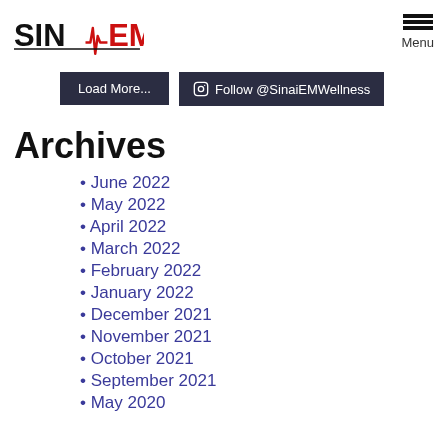SINAI EM [logo with ECG waveform]
Load More...
Follow @SinaiEMWellness
Archives
June 2022
May 2022
April 2022
March 2022
February 2022
January 2022
December 2021
November 2021
October 2021
September 2021
May 2020